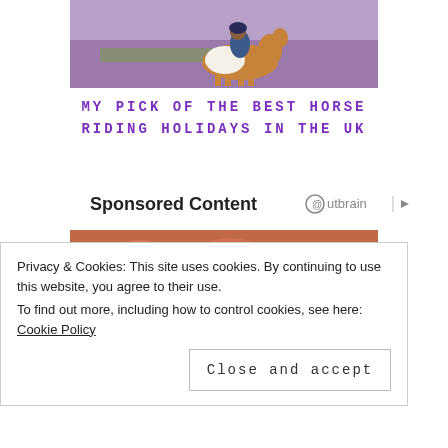[Figure (photo): A person riding a brown and white horse across purple heather moorland]
MY PICK OF THE BEST HORSE RIDING HOLIDAYS IN THE UK
Sponsored Content
[Figure (logo): Outbrain logo with circular icon and right-pointing arrow]
[Figure (photo): Close-up photo of raw meat cuts]
Privacy & Cookies: This site uses cookies. By continuing to use this website, you agree to their use.
To find out more, including how to control cookies, see here: Cookie Policy
Close and accept